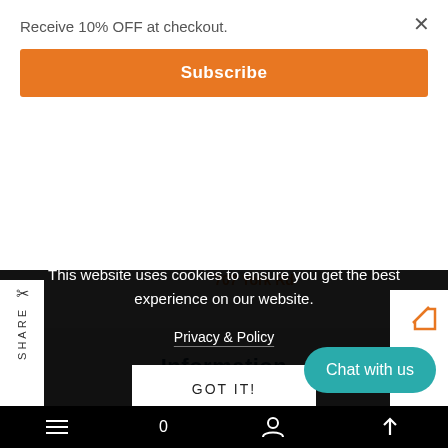Receive 10% OFF at checkout.
Subscribe
707 York Rd
SHARE
This website uses cookies to ensure you get the best experience on our website.
Privacy & Policy
GOT IT!
Information
Chat with us